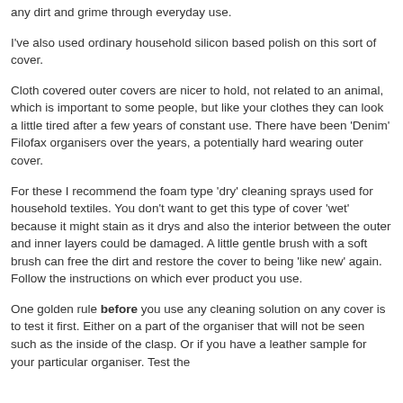any dirt and grime through everyday use.
I've also used ordinary household silicon based polish on this sort of cover.
Cloth covered outer covers are nicer to hold, not related to an animal, which is important to some people, but like your clothes they can look a little tired after a few years of constant use. There have been 'Denim' Filofax organisers over the years, a potentially hard wearing outer cover.
For these I recommend the foam type 'dry' cleaning sprays used for household textiles. You don't want to get this type of cover 'wet' because it might stain as it drys and also the interior between the outer and inner layers could be damaged. A little gentle brush with a soft brush can free the dirt and restore the cover to being 'like new' again. Follow the instructions on which ever product you use.
One golden rule before you use any cleaning solution on any cover is to test it first. Either on a part of the organiser that will not be seen such as the inside of the clasp. Or if you have a leather sample for your particular organiser. Test the